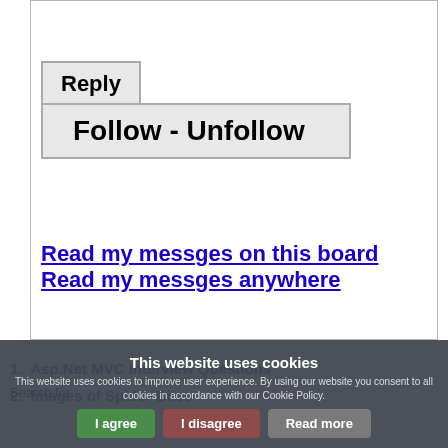[Figure (screenshot): Web page interface showing Reply and Follow-Unfollow buttons, and links to read messages]
Read my messges on this board   Read my messges anywhere
This website uses cookies
This website uses cookies to improve user experience. By using our website you consent to all cookies in accordance with our Cookie Policy.
1.  Asp.Net MVC Interview Questions
2.  Images of Spider Bites
Search for